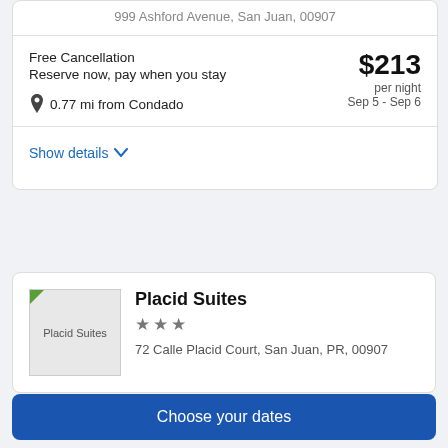999 Ashford Avenue, San Juan, 00907
Free Cancellation
Reserve now, pay when you stay
$213 per night Sep 5 - Sep 6
0.77 mi from Condado
Show details
[Figure (photo): Placid Suites hotel thumbnail image placeholder]
Placid Suites
★★★
72 Calle Placid Court, San Juan, PR, 00907
Choose your dates